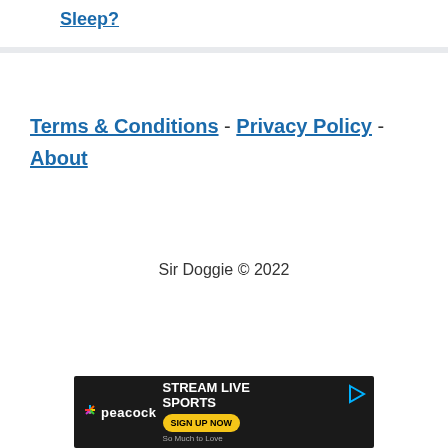Sleep?
Terms & Conditions - Privacy Policy - About
Sir Doggie © 2022
[Figure (other): Peacock streaming advertisement banner: STREAM LIVE SPORTS - SIGN UP NOW, So Much to Love]